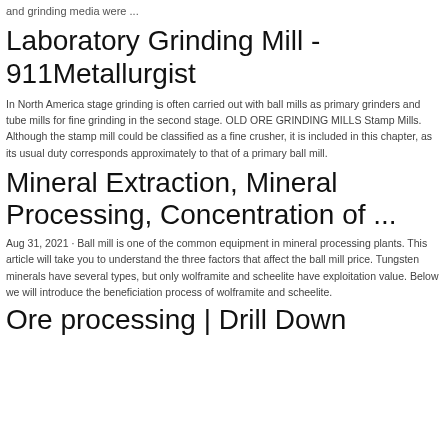and grinding media were ...
Laboratory Grinding Mill - 911Metallurgist
In North America stage grinding is often carried out with ball mills as primary grinders and tube mills for fine grinding in the second stage. OLD ORE GRINDING MILLS Stamp Mills. Although the stamp mill could be classified as a fine crusher, it is included in this chapter, as its usual duty corresponds approximately to that of a primary ball mill.
Mineral Extraction, Mineral Processing, Concentration of ...
Aug 31, 2021 · Ball mill is one of the common equipment in mineral processing plants. This article will take you to understand the three factors that affect the ball mill price. Tungsten minerals have several types, but only wolframite and scheelite have exploitation value. Below we will introduce the beneficiation process of wolframite and scheelite.
Ore processing | Drill Down